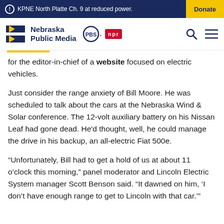KPNE North Platte Ch. 9 at reduced power. | Donate
Nebraska Public Media | PBS | npr
for the editor-in-chief of a website focused on electric vehicles.
Just consider the range anxiety of Bill Moore. He was scheduled to talk about the cars at the Nebraska Wind & Solar conference. The 12-volt auxiliary battery on his Nissan Leaf had gone dead. He'd thought, well, he could manage the drive in his backup, an all-electric Fiat 500e.
“Unfortunately, Bill had to get a hold of us at about 11 o’clock this morning,” panel moderator and Lincoln Electric System manager Scott Benson said. “It dawned on him, ‘I don’t have enough range to get to Lincoln with that car.’”